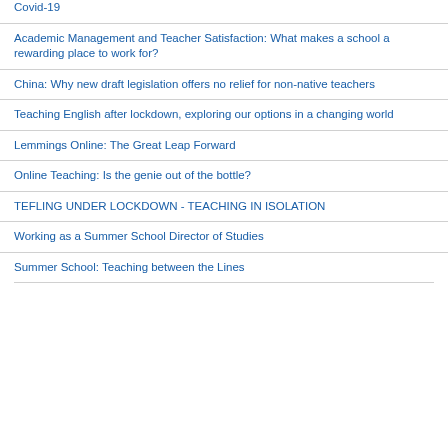Covid-19
Academic Management and Teacher Satisfaction: What makes a school a rewarding place to work for?
China: Why new draft legislation offers no relief for non-native teachers
Teaching English after lockdown, exploring our options in a changing world
Lemmings Online: The Great Leap Forward
Online Teaching: Is the genie out of the bottle?
TEFLING UNDER LOCKDOWN - TEACHING IN ISOLATION
Working as a Summer School Director of Studies
Summer School: Teaching between the Lines